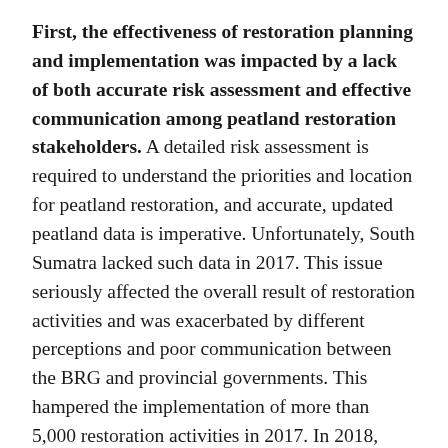First, the effectiveness of restoration planning and implementation was impacted by a lack of both accurate risk assessment and effective communication among peatland restoration stakeholders. A detailed risk assessment is required to understand the priorities and location for peatland restoration, and accurate, updated peatland data is imperative. Unfortunately, South Sumatra lacked such data in 2017. This issue seriously affected the overall result of restoration activities and was exacerbated by different perceptions and poor communication between the BRG and provincial governments. This hampered the implementation of more than 5,000 restoration activities in 2017. In 2018, although the peat data accuracy was addressed, necessary restoration activities did not occur in some